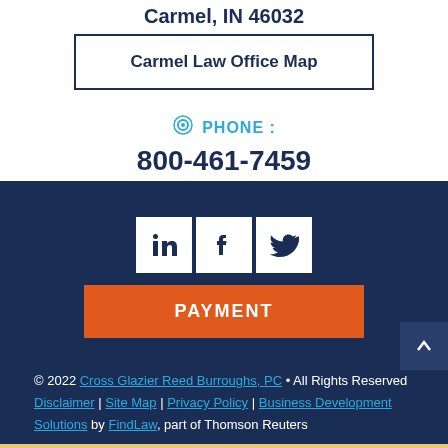Carmel, IN 46032
Carmel Law Office Map
PHONE : 800-461-7459
[Figure (other): Social media icons: LinkedIn, Facebook, Twitter]
PAYMENT
© 2022 Cross Glazier Reed Burroughs, PC • All Rights Reserved Disclaimer | Site Map | Privacy Policy | Business Development Solutions by FindLaw, part of Thomson Reuters